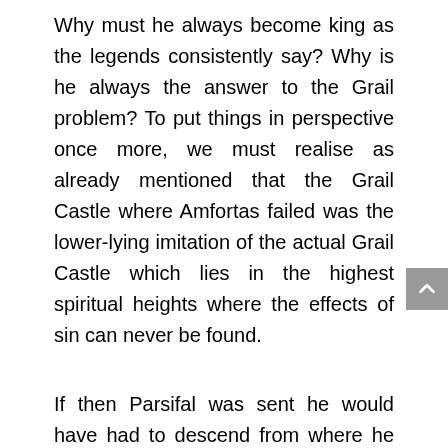Why must he always become king as the legends consistently say? Why is he always the answer to the Grail problem? To put things in perspective once more, we must realise as already mentioned that the Grail Castle where Amfortas failed was the lower-lying imitation of the actual Grail Castle which lies in the highest spiritual heights where the effects of sin can never be found.
If then Parsifal was sent he would have had to descend from where he was to the level where there was affliction. He could not perchance have ascended to that level. If he